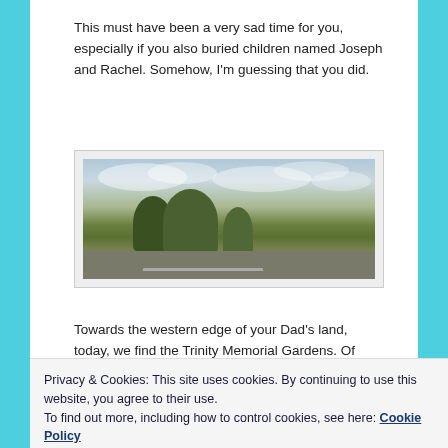This must have been a very sad time for you, especially if you also buried children named Joseph and Rachel. Somehow, I'm guessing that you did.
[Figure (photo): A landscape photograph showing what appears to be a memorial garden or cemetery grounds with trees, green grass, and a road or path visible. The sky is overcast.]
Towards the western edge of your Dad's land, today, we find the Trinity Memorial Gardens. Of course, when you lived on this land, there was a cemetery someplace too.
Privacy & Cookies: This site uses cookies. By continuing to use this website, you agree to their use. To find out more, including how to control cookies, see here: Cookie Policy
47 years old then.